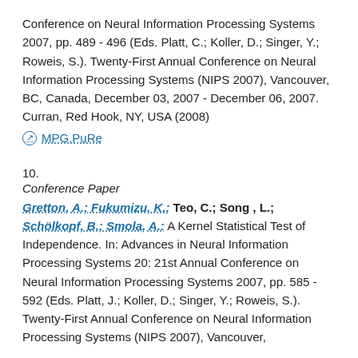Conference on Neural Information Processing Systems 2007, pp. 489 - 496 (Eds. Platt, C.; Koller, D.; Singer, Y.; Roweis, S.). Twenty-First Annual Conference on Neural Information Processing Systems (NIPS 2007), Vancouver, BC, Canada, December 03, 2007 - December 06, 2007. Curran, Red Hook, NY, USA (2008)
MPG.PuRe
10.
Conference Paper
Gretton, A.; Fukumizu, K.; Teo, C.; Song , L.; Schölkopf, B.; Smola, A.: A Kernel Statistical Test of Independence. In: Advances in Neural Information Processing Systems 20: 21st Annual Conference on Neural Information Processing Systems 2007, pp. 585 - 592 (Eds. Platt, J.; Koller, D.; Singer, Y.; Roweis, S.). Twenty-First Annual Conference on Neural Information Processing Systems (NIPS 2007), Vancouver,